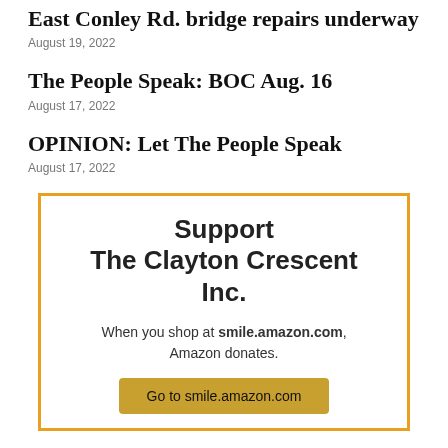East Conley Rd. bridge repairs underway
August 19, 2022
The People Speak: BOC Aug. 16
August 17, 2022
OPINION: Let The People Speak
August 17, 2022
[Figure (infographic): Advertisement box with orange border promoting The Clayton Crescent Inc. with text: Support The Clayton Crescent Inc. When you shop at smile.amazon.com, Amazon donates. Button: Go to smile.amazon.com]